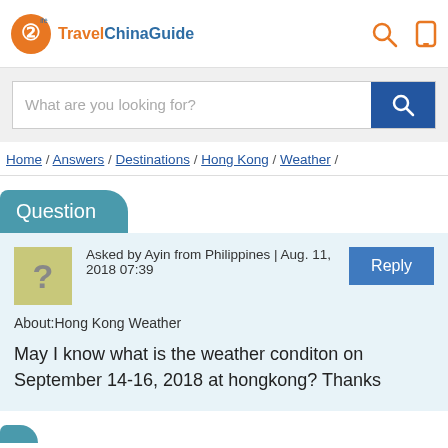Travel China Guide
What are you looking for?
Home / Answers / Destinations / Hong Kong / Weather /
Question
Asked by Ayin from Philippines | Aug. 11, 2018 07:39
About:Hong Kong Weather
May I know what is the weather conditon on September 14-16, 2018 at hongkong? Thanks